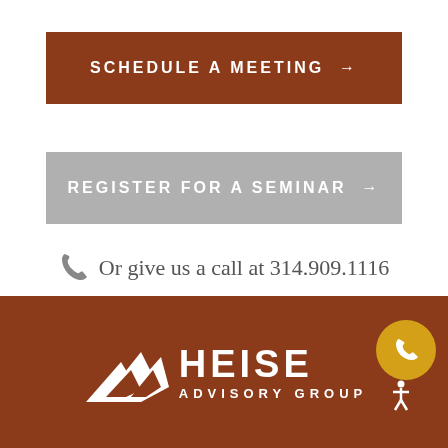[Figure (other): Brown button reading SCHEDULE A MEETING with arrow]
[Figure (other): Gray button reading REGISTER FOR A SEMINAR with arrow]
Or give us a call at 314.909.1116
[Figure (logo): Heise Advisory Group logo with bird graphic on brown background footer, with gold phone circle and accessibility icon]